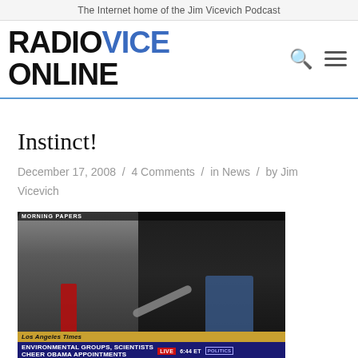The Internet home of the Jim Vicevich Podcast
[Figure (logo): RadioVice Online logo with RADIO in black, VICE in blue, ONLINE in black, plus search and hamburger menu icons]
Instinct!
December 17, 2008 / 4 Comments / in News / by Jim Vicevich
[Figure (screenshot): TV screenshot showing two men in a news studio, ticker reads MORNING PAPERS / Los Angeles Times / ENVIRONMENTAL GROUPS, SCIENTISTS CHEER OBAMA APPOINTMENTS / AT LEAST A HALF-POINT TO 0.5% OIL FELL $1.77 ON M, with LIVE 6:44 ET badge]